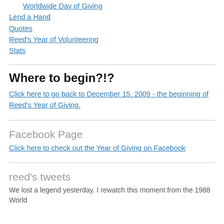Worldwide Day of Giving
Lend a Hand
Quotes
Reed's Year of Volunteering
Stats
Where to begin?!?
Click here to go back to December 15, 2009 - the beginning of Reed's Year of Giving.
Facebook Page
Click here to check out the Year of Giving on Facebook
reed's tweets
We lost a legend yesterday. I rewatch this moment from the 1988 World